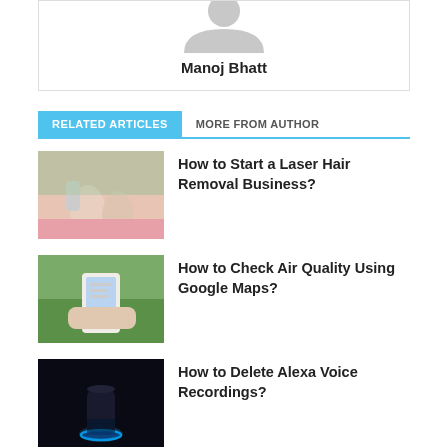[Figure (illustration): Author avatar placeholder - grey silhouette of a person]
Manoj Bhatt
RELATED ARTICLES   MORE FROM AUTHOR
[Figure (photo): Person applying laser hair removal on legs]
How to Start a Laser Hair Removal Business?
[Figure (photo): Person holding smartphone outdoors]
How to Check Air Quality Using Google Maps?
[Figure (photo): Amazon Alexa smart speaker on dark background]
How to Delete Alexa Voice Recordings?